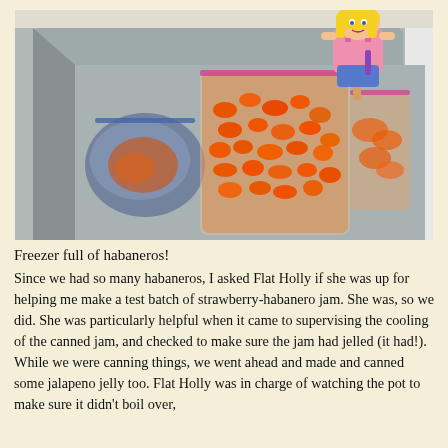[Figure (photo): A top-down view of an open chest freezer containing bags of orange habanero peppers. A blue zip-lock bag with other items is on the left. Two clear zip-lock bags full of orange habanero peppers are in the center and right. A colorful hand-drawn paper doll character with yellow hair and a pink outfit ('Flat Holly') is propped up in the back right corner of the freezer.]
Freezer full of habaneros!
Since we had so many habaneros, I asked Flat Holly if she was up for helping me make a test batch of strawberry-habanero jam. She was, so we did. She was particularly helpful when it came to supervising the cooling of the canned jam, and checked to make sure the jam had jelled (it had!). While we were canning things, we went ahead and made and canned some jalapeno jelly too. Flat Holly was in charge of watching the pot to make sure it didn't boil over,